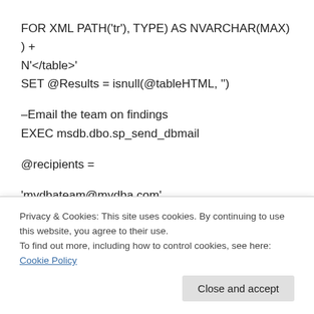FOR XML PATH('tr'), TYPE) AS NVARCHAR(MAX) ) +
N'</table>'
SET @Results = isnull(@tableHTML, '')

–Email the team on findings
EXEC msdb.dbo.sp_send_dbmail

@recipients =

'mydbateam@mydba.com',

@subject =
Privacy & Cookies: This site uses cookies. By continuing to use this website, you agree to their use.
To find out more, including how to control cookies, see here: Cookie Policy
Close and accept